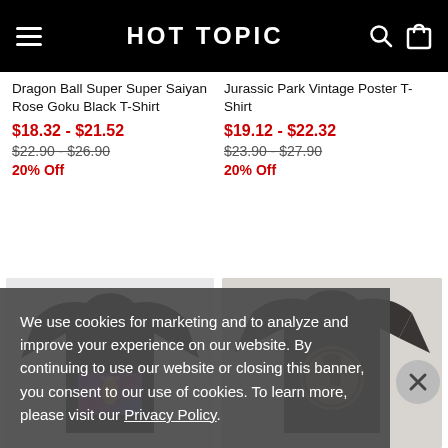HOT TOPIC
Dragon Ball Super Super Saiyan Rose Goku Black T-Shirt
$18.32 - $21.52
$22.90 - $26.90
20% Off
Jurassic Park Vintage Poster T-Shirt
$19.12 - $22.32
$23.90 - $27.90
20% Off
[Figure (photo): Black t-shirt with Dragon Ball Super graphic print on the front, displayed on white/grey background]
[Figure (photo): Dark grey t-shirt with Jurassic Park circular logo graphic on the back, displayed on white/grey background]
We use cookies for marketing and to analyze and improve your experience on our website. By continuing to use our website or closing this banner, you consent to our use of cookies. To learn more, please visit our Privacy Policy.